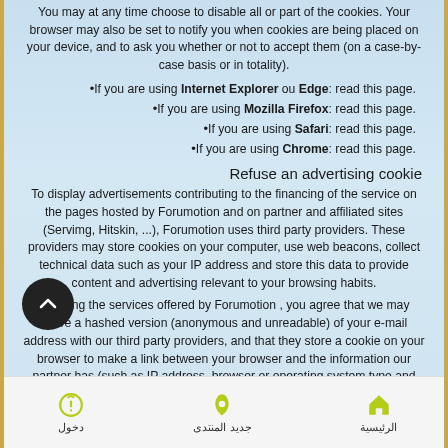You may at any time choose to disable all or part of the cookies. Your browser may also be set to notify you when cookies are being placed on your device, and to ask you whether or not to accept them (on a case-by-case basis or in totality).
If you are using Internet Explorer ou Edge: read this page.
If you are using Mozilla Firefox: read this page.
If you are using Safari: read this page.
If you are using Chrome: read this page.
Refuse an advertising cookie
To display advertisements contributing to the financing of the service on the pages hosted by Forumotion and on partner and affiliated sites (Servimg, Hitskin, ...), Forumotion uses third party providers. These providers may store cookies on your computer, use web beacons, collect technical data such as your IP address and store this data to provide content and advertising relevant to your browsing habits.
By using the services offered by Forumotion , you agree that we may share a hashed version (anonymous and unreadable) of your e-mail address with our third party providers, and that they store a cookie on your browser to make a link between your browser and the information our partner has (such as IP address, browser or operating system type and version, or demographic or inferred information). You also consent to the
دخول | جديد المنتدى | الرئيسية